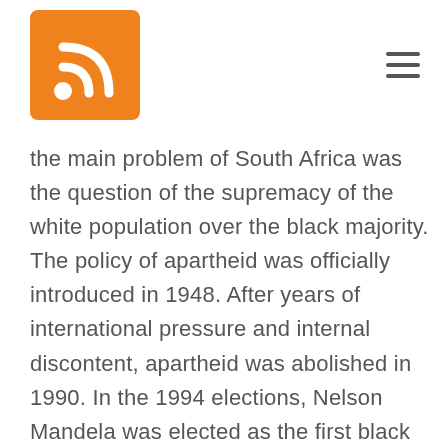[RSS feed icon] [Hamburger menu]
the main problem of South Africa was the question of the supremacy of the white population over the black majority. The policy of apartheid was officially introduced in 1948. After years of international pressure and internal discontent, apartheid was abolished in 1990. In the 1994 elections, Nelson Mandela was elected as the first black president of the country. The Republic of South Africa is one of the founding members of the United Nations and the African Union. South Africa's economy is the strongest on the African continent with a modern infrastructure. The main products of the Republic of South Africa are gold